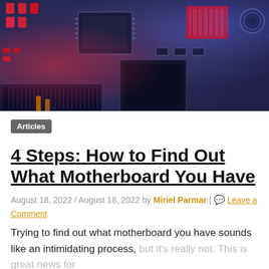[Figure (photo): Close-up photo of a computer motherboard with electronic components, lit with red and blue/purple lighting. Circuit board traces, capacitors, chips, and other components visible.]
Articles
4 Steps: How to Find Out What Motherboard You Have
August 18, 2022 / August 18, 2022 by Miriel Parmar | Leave a Comment
Trying to find out what motherboard you have sounds like an intimidating process, but it's really not. This is great news for anyone trying to upgrade their PC!